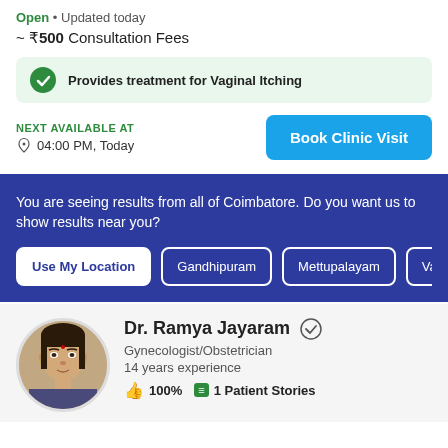Open • Updated today
~ ₹500 Consultation Fees
Provides treatment for Vaginal Itching
NEXT AVAILABLE AT
04:00 PM, Today
Book Clinic Visit
You are seeing results from all of Coimbatore. Do you want us to show results near you?
Use My Location
Gandhipuram
Mettupalayam
Vada
[Figure (photo): Portrait photo of Dr. Ramya Jayaram, a female doctor]
Dr. Ramya Jayaram
Gynecologist/Obstetrician
14 years experience
100%  1 Patient Stories